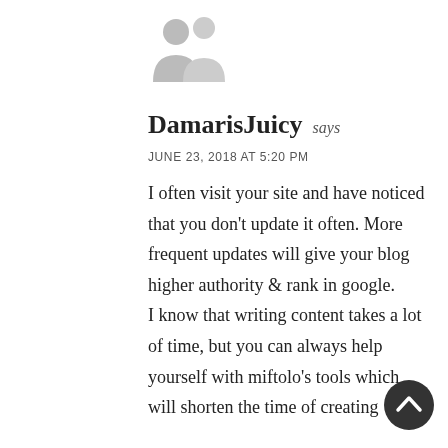[Figure (illustration): Gray default avatar silhouette icon (two overlapping person shapes)]
DamarisJuicy says
JUNE 23, 2018 AT 5:20 PM
I often visit your site and have noticed that you don't update it often. More frequent updates will give your blog higher authority & rank in google. I know that writing content takes a lot of time, but you can always help yourself with miftolo's tools which will shorten the time of creating
[Figure (illustration): Dark circular back-to-top button with upward chevron arrow]